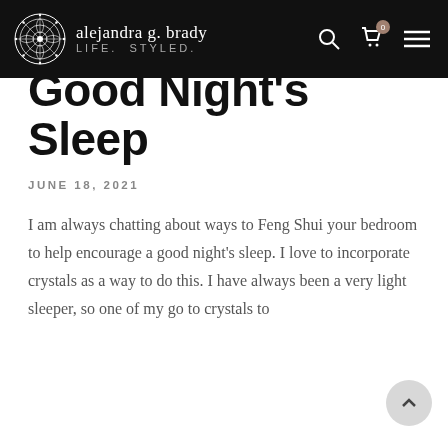alejandra g. brady LIFE. STYLED.
Crystals for a Good Night's Sleep
JUNE 18, 2021
I am always chatting about ways to Feng Shui your bedroom to help encourage a good night's sleep. I love to incorporate crystals as a way to do this. I have always been a very light sleeper, so one of my go to crystals to